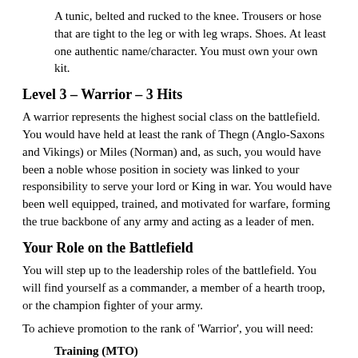A tunic, belted and rucked to the knee. Trousers or hose that are tight to the leg or with leg wraps. Shoes. At least one authentic name/character. You must own your own kit.
Level 3 – Warrior – 3 Hits
A warrior represents the highest social class on the battlefield. You would have held at least the rank of Thegn (Anglo-Saxons and Vikings) or Miles (Norman) and, as such, you would have been a noble whose position in society was linked to your responsibility to serve your lord or King in war. You would have been well equipped, trained, and motivated for warfare, forming the true backbone of any army and acting as a leader of men.
Your Role on the Battlefield
You will step up to the leadership roles of the battlefield. You will find yourself as a commander, a member of a hearth troop, or the champion fighter of your army.
To achieve promotion to the rank of ‘Warrior’, you will need:
Training (MTO)
A full weapon’s pass with a short arm i.e. (sword, axe or langseax) with a helmet. A Battlefield Safe Test in one other